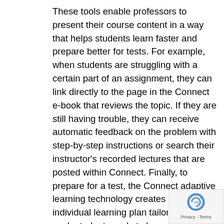These tools enable professors to present their course content in a way that helps students learn faster and prepare better for tests. For example, when students are struggling with a certain part of an assignment, they can link directly to the page in the Connect e-book that reviews the topic. If they are still having trouble, they can receive automatic feedback on the problem with step-by-step instructions or search their instructor's recorded lectures that are posted within Connect. Finally, to prepare for a test, the Connect adaptive learning technology creates an individual learning plan tailored to what each student needs to know but has not yet mastered. Students also can continue practicing the mastery of these topics on their mobile devices so the learning doesn't stop when they are on the move.
The "lecture capture" feature provides students the ability to easily search online for key excerpts from professors' class lectures and review information at
[Figure (logo): reCAPTCHA badge with Google logo showing Privacy and Terms links]